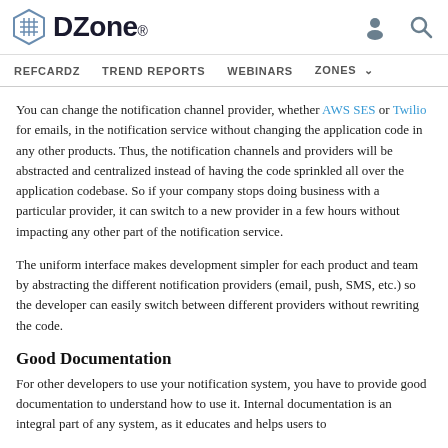DZone. REFCARDZ TREND REPORTS WEBINARS ZONES
You can change the notification channel provider, whether AWS SES or Twilio for emails, in the notification service without changing the application code in any other products. Thus, the notification channels and providers will be abstracted and centralized instead of having the code sprinkled all over the application codebase. So if your company stops doing business with a particular provider, it can switch to a new provider in a few hours without impacting any other part of the notification service.
The uniform interface makes development simpler for each product and team by abstracting the different notification providers (email, push, SMS, etc.) so the developer can easily switch between different providers without rewriting the code.
Good Documentation
For other developers to use your notification system, you have to provide good documentation to understand how to use it. Internal documentation is an integral part of any system, as it educates and helps users to